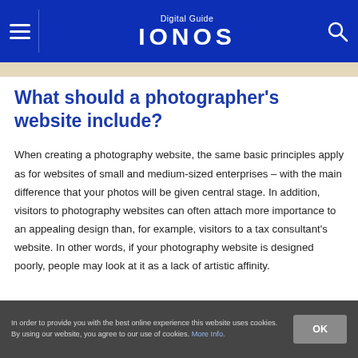Digital Guide IONOS
What should a photographer's website include?
When creating a photography website, the same basic principles apply as for websites of small and medium-sized enterprises – with the main difference that your photos will be given central stage. In addition, visitors to photography websites can often attach more importance to an appealing design than, for example, visitors to a tax consultant's website. In other words, if your photography website is designed poorly, people may look at it as a lack of artistic affinity.
In order to provide you with the best online experience this website uses cookies. By using our website, you agree to our use of cookies. More Info.